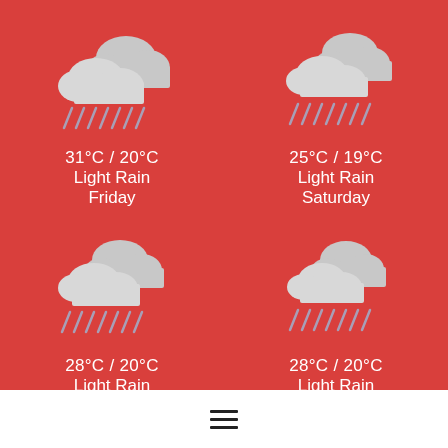[Figure (infographic): Weather forecast widget with red background showing 4 weather panels in a 2x2 grid. Each panel shows a rain cloud icon with rain drops, temperature in Celsius, weather condition, and day name.]
31°C / 20°C
Light Rain
Friday
25°C / 19°C
Light Rain
Saturday
28°C / 20°C
Light Rain
Sunday
28°C / 20°C
Light Rain
Monday
[Figure (other): Hamburger menu icon (three horizontal lines) centered in white bar at bottom]